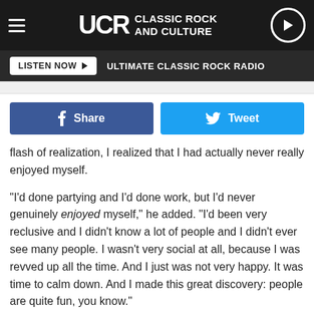UCR CLASSIC ROCK AND CULTURE
LISTEN NOW | ULTIMATE CLASSIC ROCK RADIO
[Figure (other): Facebook Share button and Twitter Tweet button]
flash of realization, I realized that I had actually never really enjoyed myself.
"I'd done partying and I'd done work, but I'd never genuinely enjoyed myself," he added. "I'd been very reclusive and I didn't know a lot of people and I didn't ever see many people. I wasn't very social at all, because I was revved up all the time. And I just was not very happy. It was time to calm down. And I made this great discovery: people are quite fun, you know."
Watch the Video for 'Runnin' Down a Dream'